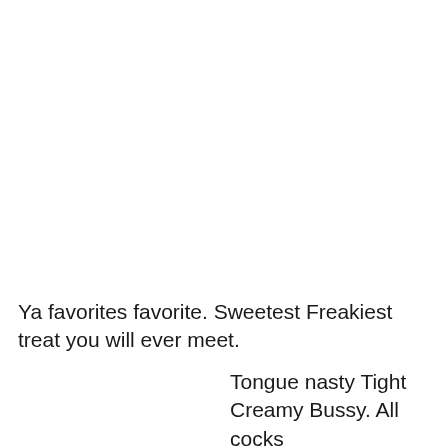Ya favorites favorite. Sweetest Freakiest treat you will ever meet.
Tongue nasty Tight Creamy Bussy. All cocks